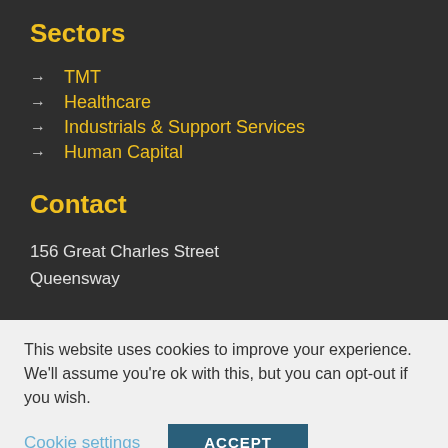Sectors
TMT
Healthcare
Industrials & Support Services
Human Capital
Contact
156 Great Charles Street
Queensway
This website uses cookies to improve your experience. We'll assume you're ok with this, but you can opt-out if you wish.
Cookie settings
ACCEPT